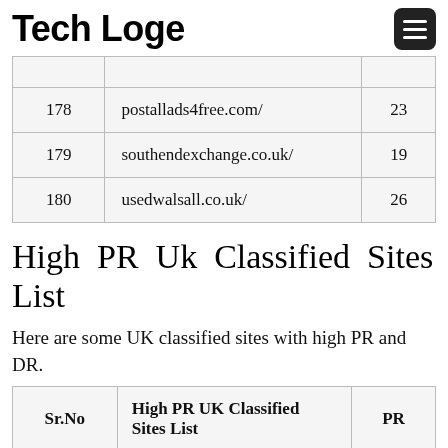Tech Loge
|  |  |  |
| 178 | postallads4free.com/ | 23 |
| 179 | southendexchange.co.uk/ | 19 |
| 180 | usedwalsall.co.uk/ | 26 |
High PR Uk Classified Sites List
Here are some UK classified sites with high PR and DR.
| Sr.No | High PR UK Classified Sites List | PR |
| --- | --- | --- |